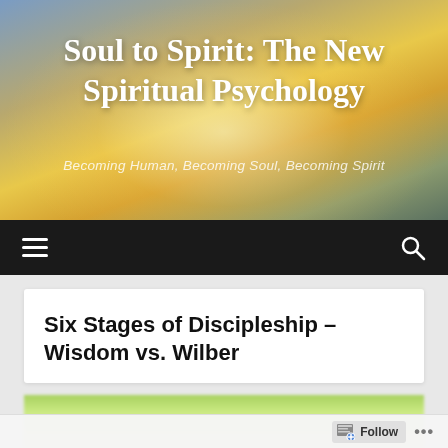[Figure (screenshot): Website banner with sunset/landscape background gradient in warm oranges, yellows, and blues]
Soul to Spirit: The New Spiritual Psychology
Becoming Human, Becoming Soul, Becoming Spirit
[Figure (screenshot): Dark navigation bar with hamburger menu icon on left and search icon on right]
Six Stages of Discipleship – Wisdom vs. Wilber
[Figure (photo): Blurred green foliage image strip at bottom of article card]
Follow ...